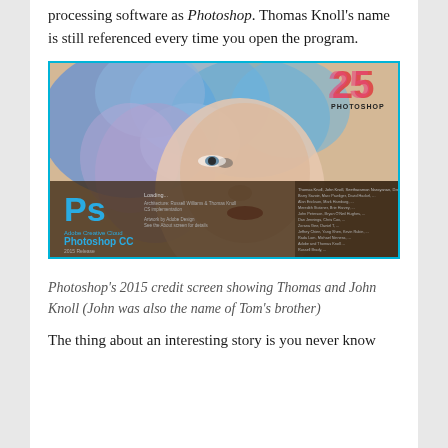processing software as Photoshop. Thomas Knoll's name is still referenced every time you open the program.
[Figure (screenshot): Photoshop CC 2015 credit/splash screen showing a stylized woman's face with blue paint/smoke, the Ps logo, Adobe Creative Cloud Photoshop CC text, and '25 PHOTOSHOP' anniversary logo in top right corner.]
Photoshop's 2015 credit screen showing Thomas and John Knoll (John was also the name of Tom's brother)
The thing about an interesting story is you never know